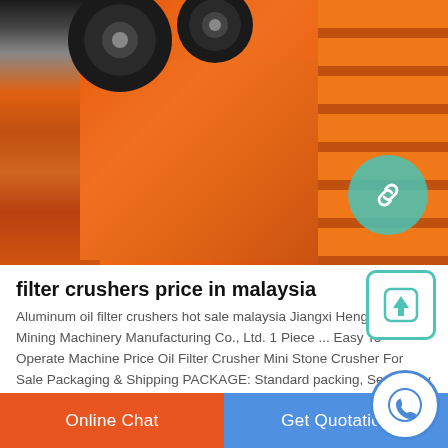[Figure (photo): Large orange industrial jaw crusher machine photographed in a factory/warehouse setting. The heavy equipment is painted bright orange with large black wheels/flywheels visible at top, ribbed frame structure on the right side, and the machine body occupying most of the frame. A teal circular link/share badge is overlaid in the bottom right of the image.]
filter crushers price in malaysia
Aluminum oil filter crushers hot sale malaysia Jiangxi Hengchang Mining Machinery Manufacturing Co., Ltd. 1 Piece ... Easy To Operate Machine Price Oil Filter Crusher Mini Stone Crusher For Sale Packaging & Shipping PACKAGE: Standard packing, Seaworthy packing, or as required.
Online Chat
Get Quotation